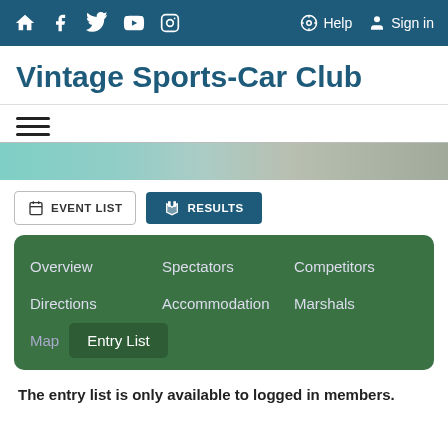Vintage Sports-Car Club website navigation bar with icons for home, Facebook, Twitter, YouTube, Instagram, Help, Sign in
Vintage Sports-Car Club
[Figure (screenshot): Hamburger menu icon (three horizontal lines)]
[Figure (photo): Hero image strip showing a vintage car on a track]
[Figure (screenshot): Two navigation buttons: EVENT LIST and RESULTS]
[Figure (screenshot): Green navigation menu with links: Overview, Spectators, Competitors, Directions, Accommodation, Marshals, Map, Entry List (active)]
The entry list is only available to logged in members.